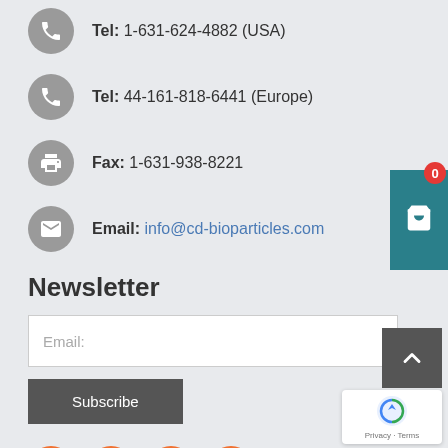Tel: 1-631-624-4882 (USA)
Tel: 44-161-818-6441 (Europe)
Fax: 1-631-938-8221
Email: info@cd-bioparticles.com
Newsletter
Email: (input field placeholder)
Subscribe
[Figure (infographic): Four orange social media icons: Facebook, Twitter, LinkedIn, and a 'B' branded icon]
Services
Drug Targeting Strategy